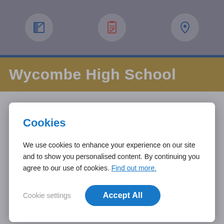[Figure (screenshot): Top navigation bar with three circular icons: a chart/analytics icon, a checklist icon, and a location pin icon on a grey background]
Wycombe High School
Cookies
We use cookies to enhance your experience on our site and to show you personalised content. By continuing you agree to our use of cookies. Find out more.
Cookie settings   Accept All
through to the age of 18. The school has approximately 1,400 pupils, and became an Academy in 2011. Ofsted has designated the school as 'Outstanding'.
GL   Girls' Grammar School